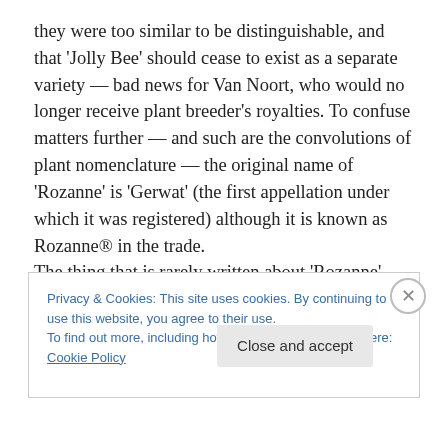they were too similar to be distinguishable, and that 'Jolly Bee' should cease to exist as a separate variety — bad news for Van Noort, who would no longer receive plant breeder's royalties. To confuse matters further — and such are the convolutions of plant nomenclature — the original name of 'Rozanne' is 'Gerwat' (the first appellation under which it was registered) although it is known as Rozanne® in the trade.
The thing that is rarely written about 'Rozanne' though (or 'Jolly Bee', for that matter), is that it is a complete hit with
Privacy & Cookies: This site uses cookies. By continuing to use this website, you agree to their use.
To find out more, including how to control cookies, see here: Cookie Policy